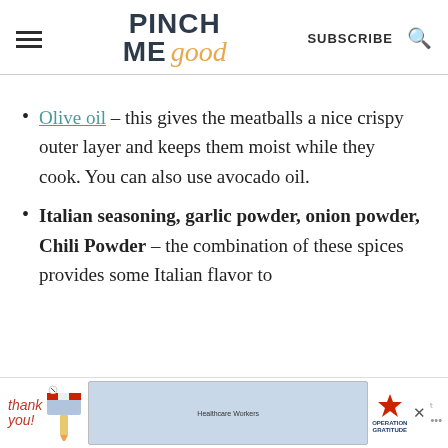PINCH ME good | SUBSCRIBE
Olive oil – this gives the meatballs a nice crispy outer layer and keeps them moist while they cook. You can also use avocado oil.
Italian seasoning, garlic powder, onion powder, Chili Powder – the combination of these spices provides some Italian flavor to
[Figure (photo): Advertisement banner: Thank You with Operation Gratitude branding, showing healthcare workers]